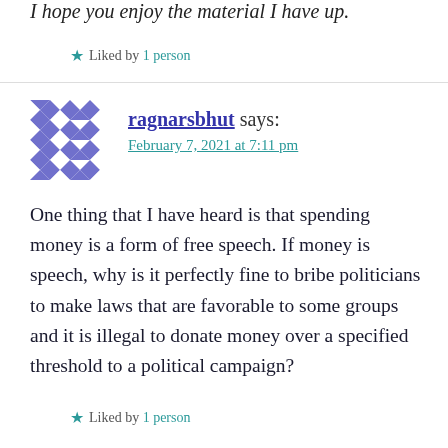I hope you enjoy the material I have up.
★ Liked by 1 person
ragnarsbhut says:
February 7, 2021 at 7:11 pm
One thing that I have heard is that spending money is a form of free speech. If money is speech, why is it perfectly fine to bribe politicians to make laws that are favorable to some groups and it is illegal to donate money over a specified threshold to a political campaign?
★ Liked by 1 person